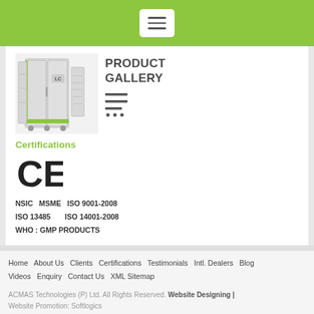[Figure (screenshot): Green navigation header bar with hamburger menu button (three horizontal lines) in white rounded rectangle]
[Figure (photo): Industrial refrigeration/incubator equipment (white metal cabinet with glass door and green trim) - ACMAS Technologies product]
PRODUCT GALLERY
[Figure (other): Menu/list icon with horizontal lines and dots]
Certifications
[Figure (other): CE certification mark logo]
NSIC  MSME  ISO 9001-2008
ISO 13485      ISO 14001-2008
WHO : GMP PRODUCTS
Home  About Us  Clients  Certifications  Testimonials  Intl. Dealers  Blog  Videos  Enquiry  Contact Us  XML Sitemap
ACMAS Technologies (P) Ltd. All Rights Reserved. Website Designing | Website Promotion: Softlogics